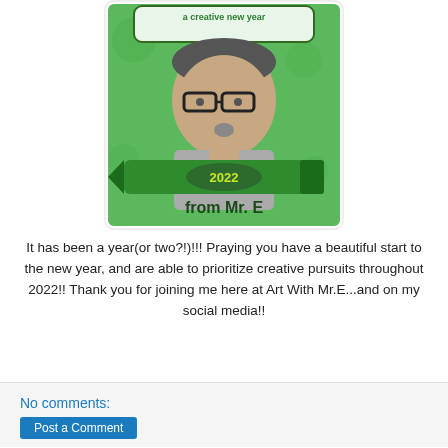[Figure (photo): An illustrated card with a green background showing a man with glasses looking at the camera. At the top is a speech bubble saying 'a creative new year'. At the bottom is a green crayon graphic with '2022' inside an oval, and below it text reading 'from Mr. E'.]
It has been a year(or two?!)!!! Praying you have a beautiful start to the new year, and are able to prioritize creative pursuits throughout 2022!! Thank you for joining me here at Art With Mr.E...and on my social media!!
No comments: